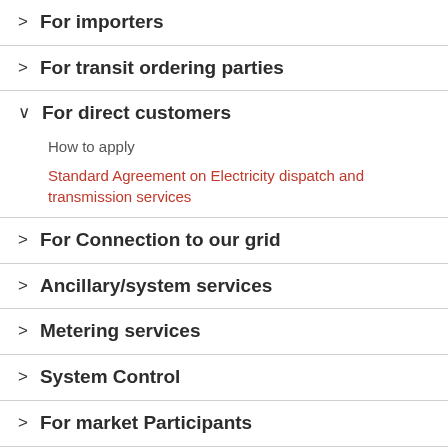For importers
For transit ordering parties
For direct customers
How to apply
Standard Agreement on Electricity dispatch and transmission services
For Connection to our grid
Ancillary/system services
Metering services
System Control
For market Participants